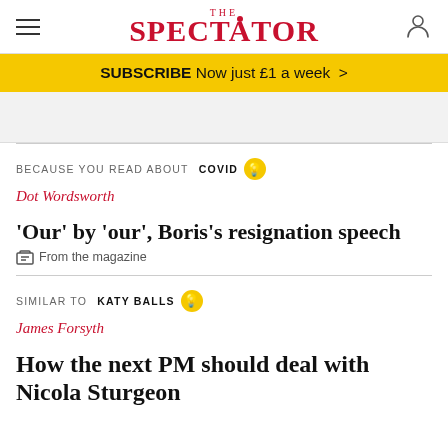THE SPECTATOR
SUBSCRIBE Now just £1 a week >
BECAUSE YOU READ ABOUT COVID 💡
Dot Wordsworth
'Our' by 'our', Boris's resignation speech
From the magazine
SIMILAR TO KATY BALLS 💡
James Forsyth
How the next PM should deal with Nicola Sturgeon